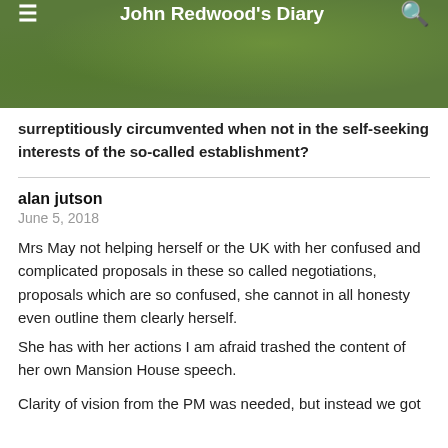John Redwood's Diary
surreptitiously circumvented when not in the self-seeking interests of the so-called establishment?
alan jutson
June 5, 2018
Mrs May not helping herself or the UK with her confused and complicated proposals in these so called negotiations, proposals which are so confused, she cannot in all honesty even outline them clearly herself.
She has with her actions I am afraid trashed the content of her own Mansion House speech.
Clarity of vision from the PM was needed, but instead we got